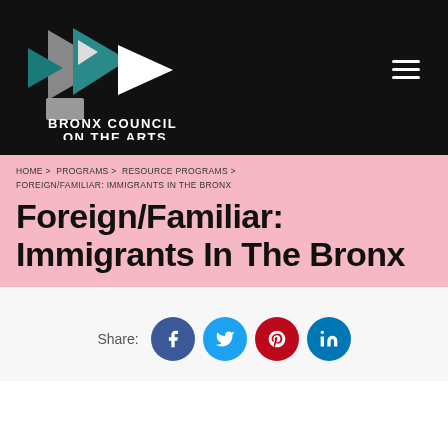[Figure (logo): Bronx Council on the Arts logo — geometric triangular shapes in gray, teal, and white on black background with text 'BRONX COUNCIL ON THE ARTS' below]
HOME > PROGRAMS > RESOURCE PROGRAMS > FOREIGN/FAMILIAR: IMMIGRANTS IN THE BRONX
Foreign/Familiar: Immigrants In The Bronx
Share:
[Figure (infographic): Social share buttons: Facebook (blue circle), Twitter (cyan circle), Pinterest (red circle), LinkedIn (blue circle)]